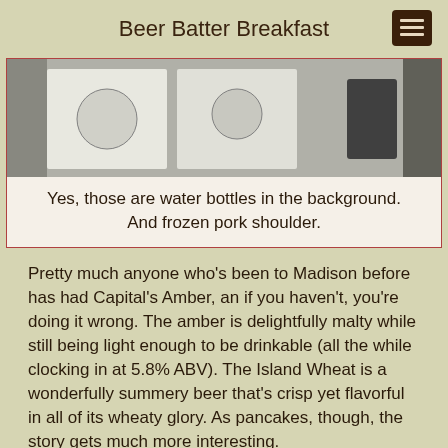Beer Batter Breakfast
[Figure (photo): Black and white photo showing what appears to be a kitchen or food preparation area with water bottles in the background and a frozen pork shoulder.]
Yes, those are water bottles in the background. And frozen pork shoulder.
Pretty much anyone who's been to Madison before has had Capital's Amber, an if you haven't, you're doing it wrong. The amber is delightfully malty while still being light enough to be drinkable (all the while clocking in at 5.8% ABV). The Island Wheat is a wonderfully summery beer that's crisp yet flavorful in all of its wheaty glory. As pancakes, though, the story gets much more interesting.
Prep/Cooking:
When it comes to batters, there wasn't anything particularly special about these two. Their distinct colors